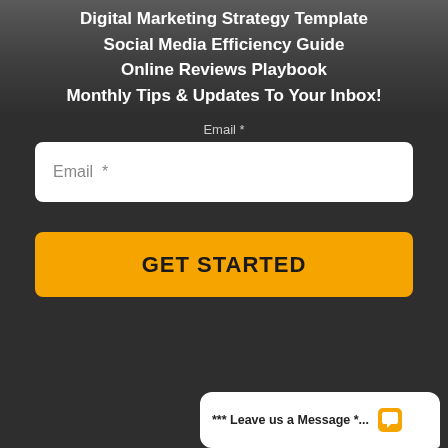[Figure (screenshot): Dark background top area with blurred image of desk/office scene]
Digital Marketing Strategy Template
Social Media Efficiency Guide
Online Reviews Playbook
Monthly Tips & Updates To Your Inbox!
Email *
Email  *
GET STARTED
*** Leave us a Message *...